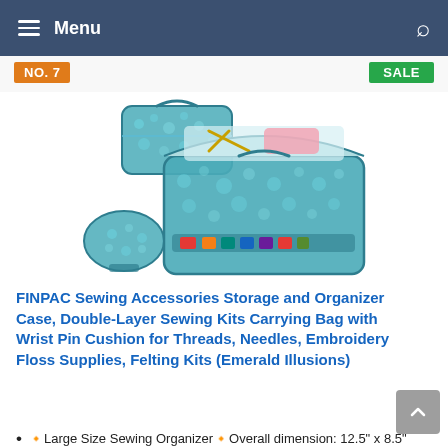Menu
NO. 7
SALE
[Figure (photo): FINPAC sewing accessories storage and organizer case set — three teal/blue patterned bags (a small top case, a large double-layer main organizer with open lid showing scissors and supplies inside, and a wrist pin cushion) arranged together on a white background.]
FINPAC Sewing Accessories Storage and Organizer Case, Double-Layer Sewing Kits Carrying Bag with Wrist Pin Cushion for Threads, Needles, Embroidery Floss Supplies, Felting Kits (Emerald Illusions)
🔹Large Size Sewing Organizer🔹Overall dimension: 12.5" x 8.5" x 8"(L x W x H). FINPAC